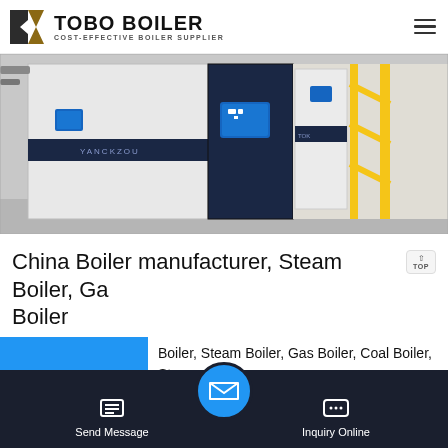TOBO BOILER — COST-EFFECTIVE BOILER SUPPLIER
[Figure (photo): Industrial boilers in a facility — large white and dark navy vertical boiler units with blue indicator panels, and yellow metal scaffolding on the right side.]
China Boiler manufacturer, Steam Boiler, Ga Boiler
Boiler, Steam Boiler, Gas Boiler, Coal Boiler, Steam Furnace, Oil Heater, Gas Heater, Hot Water Boiler, roduction Wuxi ZOZEN Boilers Co., Ltd., nuf..., researching and developing
[Figure (screenshot): WhatsApp contact bar in green with phone icon and WhatsApp text label]
Send Message | Inquiry Online